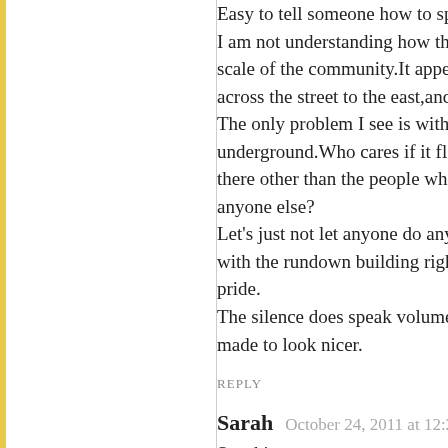Easy to tell someone how to spend their millions I s... I am not understanding how this building is complet... scale of the community.It appears to be smaller than... across the street to the east,and the buildings across... The only problem I see is with the parking.Just let th... underground.Who cares if it floods if they dont?Nor... there other than the people who buy the places.If the... anyone else? Let's just not let anyone do anything with that corne... with the rundown building right on the beach.What a... pride. The silence does speak volumes.Perhaps people don... made to look nicer.
REPLY
Sarah   October 24, 2011 at 12:27 pm
Sunshine,